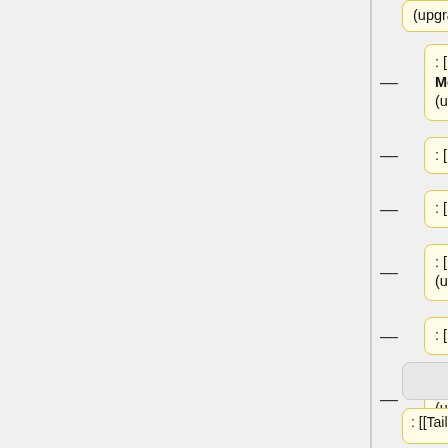(upgraded)
: [[The Love Boat (Tigerleaf Mountain)|The Love Boat]] (upgraded)
: [[Mowgli's Masts]] (upgraded)
: [[Rainforest Rafts]] (upgraded)
: [[Rudderyard Shipling]] (upgraded)
: [[Slippery Sloop]] (upgraded)
: [[Trireme Sleeps Tonight]] (upgraded)
: [[Tailor]] : [[Ape
: [[Tailor]]